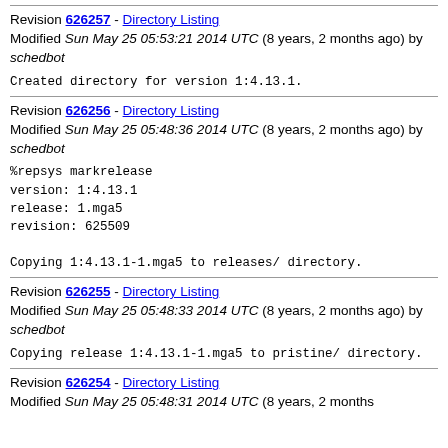Revision 626257 - Directory Listing
Modified Sun May 25 05:53:21 2014 UTC (8 years, 2 months ago) by schedbot
Created directory for version 1:4.13.1.
Revision 626256 - Directory Listing
Modified Sun May 25 05:48:36 2014 UTC (8 years, 2 months ago) by schedbot
%repsys markrelease
version: 1:4.13.1
release: 1.mga5
revision: 625509

Copying 1:4.13.1-1.mga5 to releases/ directory.
Revision 626255 - Directory Listing
Modified Sun May 25 05:48:33 2014 UTC (8 years, 2 months ago) by schedbot
Copying release 1:4.13.1-1.mga5 to pristine/ directory.
Revision 626254 - Directory Listing
Modified Sun May 25 05:48:31 2014 UTC (8 years, 2 months